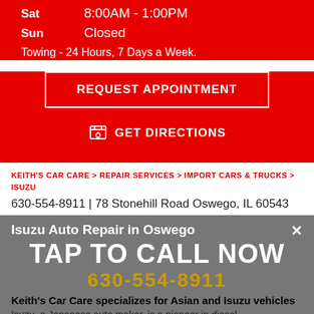Sat  8:00AM - 1:00PM
Sun  Closed
Towing - 24 Hours, 7 Days a Week.
REQUEST APPOINTMENT
GET DIRECTIONS
KEITH'S CAR CARE > REPAIR SERVICES > IMPORT CARS & TRUCKS > ISUZU
630-554-8911 | 78 Stonehill Road Oswego, IL 60543
Isuzu Auto Repair in Oswego
TAP TO CALL NOW
630-554-8911
Keith's Car Care specializes for Asian and Isuzu vehicles
Isuzu, a Japanese auto maker, is a pioneer in diesel